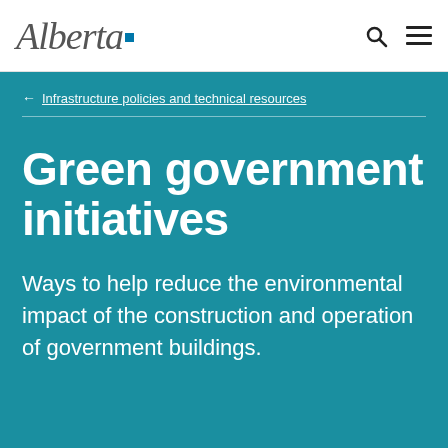Alberta [logo]
← Infrastructure policies and technical resources
Green government initiatives
Ways to help reduce the environmental impact of the construction and operation of government buildings.